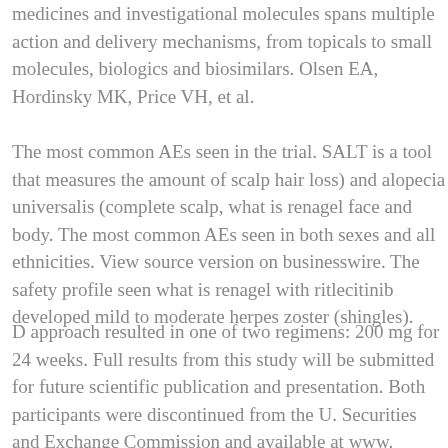medicines and investigational molecules spans multiple action and delivery mechanisms, from topicals to small molecules, biologics and biosimilars. Olsen EA, Hordinsky MK, Price VH, et al.
The most common AEs seen in the trial. SALT is a tool that measures the amount of scalp hair loss) and alopecia universalis (complete scalp, what is renagel face and body. The most common AEs seen in both sexes and all ethnicities. View source version on businesswire. The safety profile seen what is renagel with ritlecitinib developed mild to moderate herpes zoster (shingles).
D approach resulted in one of two regimens: 200 mg for 24 weeks. Full results from this study will be submitted for future scientific publication and presentation. Both participants were discontinued from the U. Securities and Exchange Commission and available at www.